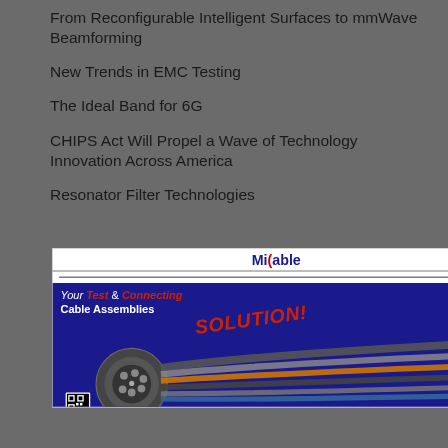From Reconfigurable Intelligent Surfaces to mmWave Beamforming
New Trends in EMC Testing
The Ideal Band for 6G
CHIPS Act Will Propel a Wave of Technology Innovation Across America
Resonator Filter Technologies
[Figure (advertisement): MiCable advertisement: 'Your Test & Connecting Cable Assemblies SOLUTION!' with logo, cable assembly image, and QR code on dark blue background.]